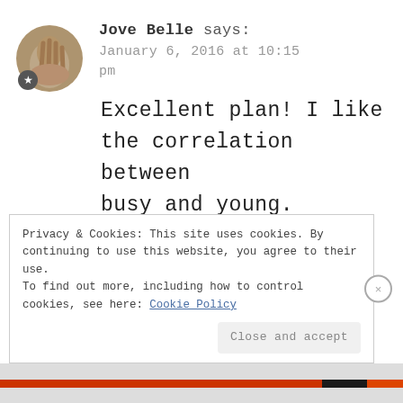[Figure (photo): Circular avatar photo of a hand/person with a star badge overlay in bottom-left]
Jove Belle says:
January 6, 2016 at 10:15 pm
Excellent plan! I like the correlation between busy and young.
Privacy & Cookies: This site uses cookies. By continuing to use this website, you agree to their use.
To find out more, including how to control cookies, see here: Cookie Policy
Close and accept